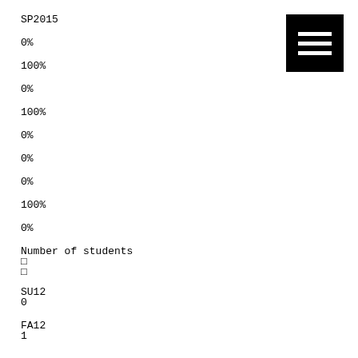SP2015
0%
100%
0%
100%
0%
0%
0%
100%
0%
Number of students
□
□
SU12
0
FA12
1